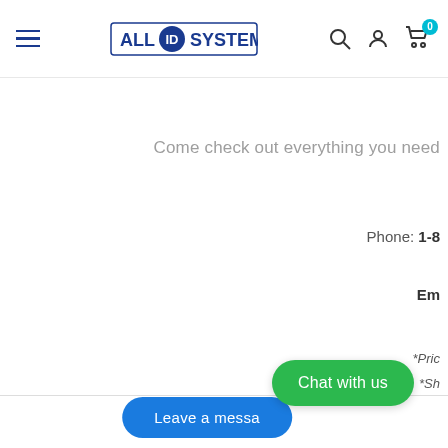ALL ID SYSTEMS — navigation header with hamburger menu, logo, search, account, and cart icons
Come check out everything you need
Phone: 1-8
Em
*Pric
*Sh
*Cards will be shipped 5-7 business da
Leave a messa
Chat with us